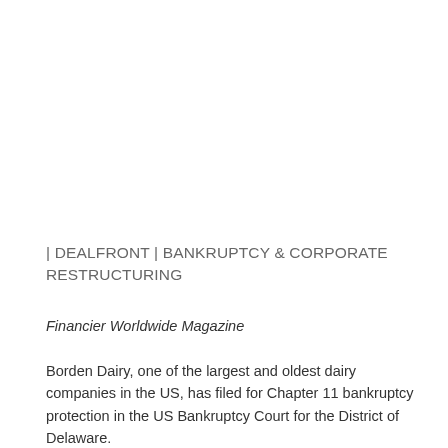| DEALFRONT | BANKRUPTCY & CORPORATE RESTRUCTURING
Financier Worldwide Magazine
Borden Dairy, one of the largest and oldest dairy companies in the US, has filed for Chapter 11 bankruptcy protection in the US Bankruptcy Court for the District of Delaware.